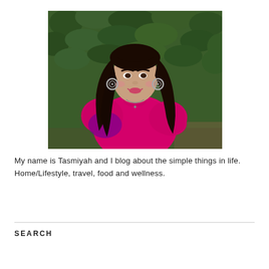[Figure (photo): Portrait photograph of a young woman with long dark hair wearing a bright pink/magenta outfit and large silver earrings, sitting outdoors in front of green leafy hedge background, smiling]
My name is Tasmiyah and I blog about the simple things in life. Home/Lifestyle, travel, food and wellness.
SEARCH